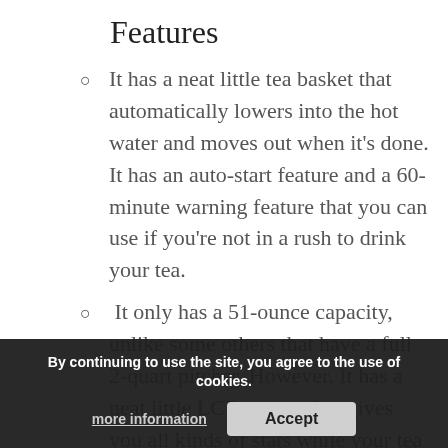Features
It has a neat little tea basket that automatically lowers into the hot water and moves out when it’s done. It has an auto-start feature and a 60-minute warning feature that you can use if you’re not in a rush to drink your tea.
It only has a 51-ounce capacity, unlike some others that have a full 2-quart pitcher. However. It has a neat little LCD screen that gives you all kinds of stats while your tea is brewing. The strength feature lets you can adjust how strong you want your tea, but we recommend going to full
By continuing to use the site, you agree to the use of cookies.
more information
Accept